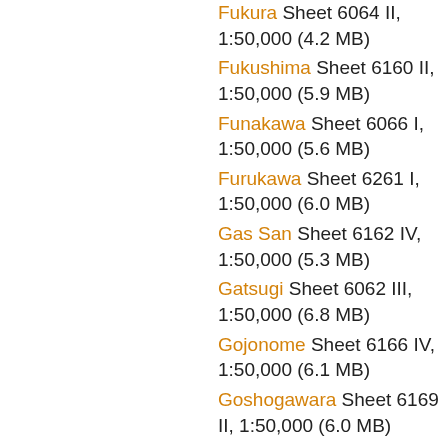Fukura Sheet 6064 II, 1:50,000 (4.2 MB)
Fukushima Sheet 6160 II, 1:50,000 (5.9 MB)
Funakawa Sheet 6066 I, 1:50,000 (5.6 MB)
Furukawa Sheet 6261 I, 1:50,000 (6.0 MB)
Gas San Sheet 6162 IV, 1:50,000 (5.3 MB)
Gatsugi Sheet 6062 III, 1:50,000 (6.8 MB)
Gojonome Sheet 6166 IV, 1:50,000 (6.1 MB)
Goshogawara Sheet 6169 II, 1:50,000 (6.0 MB)
Hachiman Tai Sheet 6266 I, 1:50,000 (4.8 MB)